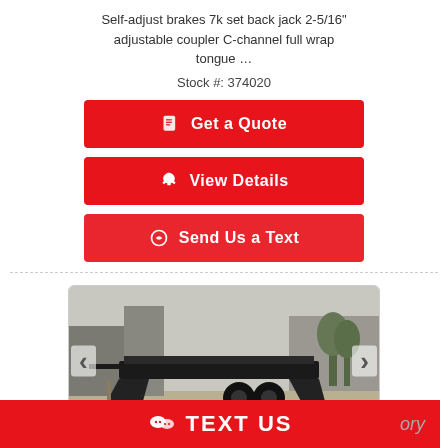Self-adjust brakes 7k set back jack 2-5/16" adjustable coupler C-channel full wrap tongue …
Stock #: 374020
Get a Quote
View Details
Send Us a Text
[Figure (photo): Photo of a 2022 Sure-Trac 7x17+3 Equipment Trailer 14,000# shown outdoors, a black flatbed equipment trailer with ramps down]
2022 Sure-Trac 7x17+3 Equipment Trailer 14,000#
TEXT US